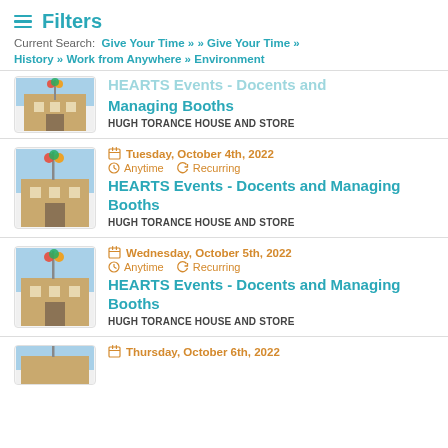Filters
Current Search: Give Your Time » » Give Your Time » History » Work from Anywhere » Environment
HEARTS Events - Docents and Managing Booths
HUGH TORANCE HOUSE AND STORE
Tuesday, October 4th, 2022 | Anytime | Recurring
HEARTS Events - Docents and Managing Booths
HUGH TORANCE HOUSE AND STORE
Wednesday, October 5th, 2022 | Anytime | Recurring
HEARTS Events - Docents and Managing Booths
HUGH TORANCE HOUSE AND STORE
Thursday, October 6th, 2022